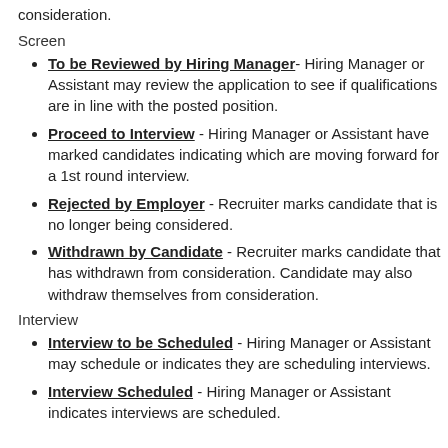consideration.
Screen
To be Reviewed by Hiring Manager - Hiring Manager or Assistant may review the application to see if qualifications are in line with the posted position.
Proceed to Interview - Hiring Manager or Assistant have marked candidates indicating which are moving forward for a 1st round interview.
Rejected by Employer - Recruiter marks candidate that is no longer being considered.
Withdrawn by Candidate - Recruiter marks candidate that has withdrawn from consideration. Candidate may also withdraw themselves from consideration.
Interview
Interview to be Scheduled - Hiring Manager or Assistant may schedule or indicates they are scheduling interviews.
Interview Scheduled - Hiring Manager or Assistant indicates interviews are scheduled.